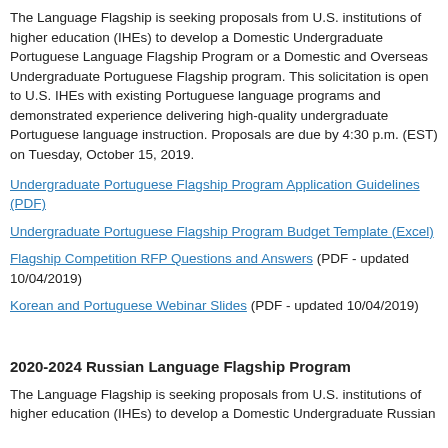The Language Flagship is seeking proposals from U.S. institutions of higher education (IHEs) to develop a Domestic Undergraduate Portuguese Language Flagship Program or a Domestic and Overseas Undergraduate Portuguese Flagship program. This solicitation is open to U.S. IHEs with existing Portuguese language programs and demonstrated experience delivering high-quality undergraduate Portuguese language instruction. Proposals are due by 4:30 p.m. (EST) on Tuesday, October 15, 2019.
Undergraduate Portuguese Flagship Program Application Guidelines (PDF)
Undergraduate Portuguese Flagship Program Budget Template (Excel)
Flagship Competition RFP Questions and Answers (PDF - updated 10/04/2019)
Korean and Portuguese Webinar Slides (PDF - updated 10/04/2019)
2020-2024 Russian Language Flagship Program
The Language Flagship is seeking proposals from U.S. institutions of higher education (IHEs) to develop a Domestic Undergraduate Russian